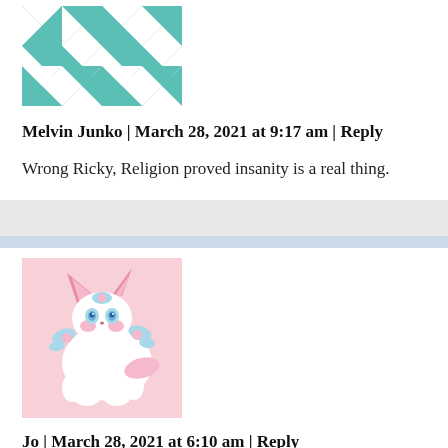[Figure (illustration): Teal and white geometric quilt pattern avatar for Melvin Junko]
Melvin Junko | March 28, 2021 at 9:17 am | Reply
Wrong Ricky, Religion proved insanity is a real thing.
[Figure (illustration): Anime-style illustration of Sylveon (Pokemon) character with pink and white coloring with blue butterfly accessories]
Jo | March 28, 2021 at 6:10 am | Reply
These comments just show me the type of decadence as society we've descended into. It's incredible how anti-intellectualism is alive and kicking